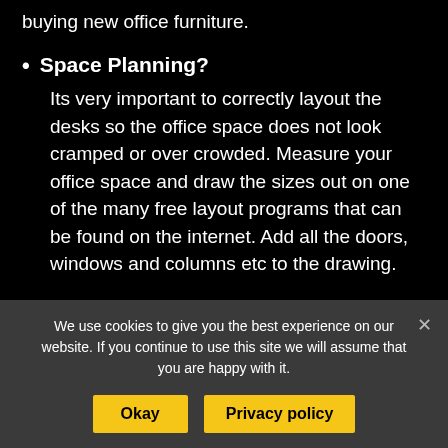buying new office furniture.
Space Planning?
Its very important to correctly layout the desks so the office space does not look cramped or over crowded. Measure your office space and draw the sizes out on one of the many free layout programs that can be found on the internet. Add all the doors, windows and columns etc to the drawing.
We use cookies to give you the best experience on our website. If you continue to use this site we will assume that you are happy with it.